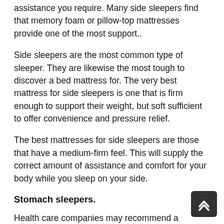assistance you require. Many side sleepers find that memory foam or pillow-top mattresses provide one of the most support..
Side sleepers are the most common type of sleeper. They are likewise the most tough to discover a bed mattress for. The very best mattress for side sleepers is one that is firm enough to support their weight, but soft sufficient to offer convenience and pressure relief.
The best mattresses for side sleepers are those that have a medium-firm feel. This will supply the correct amount of assistance and comfort for your body while you sleep on your side.
Stomach sleepers.
Health care companies may recommend a stomach-sleepers switch to a bed mattress position